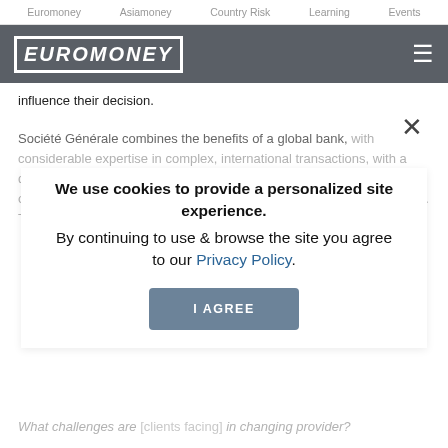Euromoney   Asiamoney   Country Risk   Learning   Events
EUROMONEY
influence their decision.
Société Générale combines the benefits of a global bank, with considerable expertise in complex, international transactions, with a deep knowledge of the local markets. This allows us, for example, to offer our clients with a range of solutions and financing in local markets. This has been a major selling point for our clients.
We use cookies to provide a personalized site experience.
By continuing to use & browse the site you agree to our Privacy Policy.
What challenges are [clients facing] in changing provider?